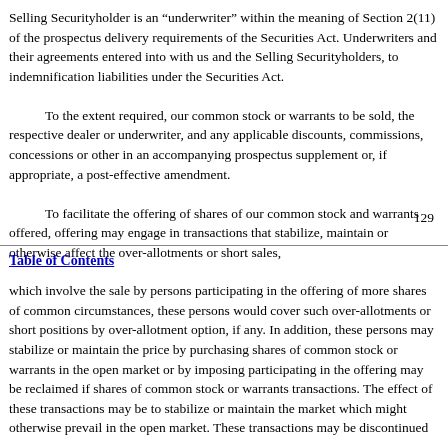Selling Securityholder is an “underwriter” within the meaning of Section 2(11) of the prospectus delivery requirements of the Securities Act. Underwriters and their agreements entered into with us and the Selling Securityholders, to indemnification liabilities under the Securities Act.
To the extent required, our common stock or warrants to be sold, the respective dealer or underwriter, and any applicable discounts, commissions, concessions or other in an accompanying prospectus supplement or, if appropriate, a post-effective amendment.
To facilitate the offering of shares of our common stock and warrants offered, offering may engage in transactions that stabilize, maintain or otherwise affect the over-allotments or short sales,
129
Table of Contents
which involve the sale by persons participating in the offering of more shares of common circumstances, these persons would cover such over-allotments or short positions by over-allotment option, if any. In addition, these persons may stabilize or maintain the price by purchasing shares of common stock or warrants in the open market or by imposing penalty bids. participating in the offering may be reclaimed if shares of common stock or warrants are sold. transactions. The effect of these transactions may be to stabilize or maintain the market price which might otherwise prevail in the open market. These transactions may be discontinued at any time.
The Selling Securityholders may solicit offers to purchase shares of our common stock or warrants.